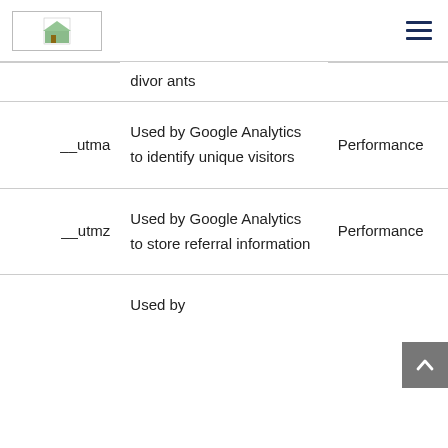| Name | Description | Type |
| --- | --- | --- |
| __utma | Used by Google Analytics to identify unique visitors | Performance |
| __utmz | Used by Google Analytics to store referral information | Performance |
|  | Used by |  |